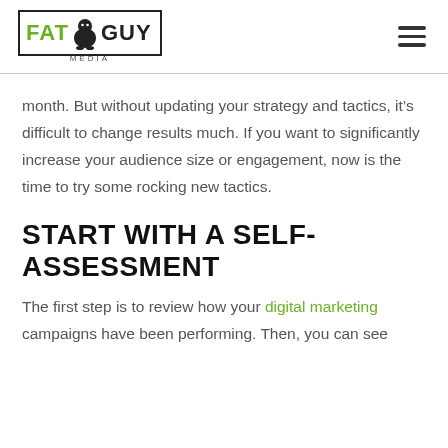FAT GUY MEDIA [logo with mascot icon]
month. But without updating your strategy and tactics, it’s difficult to change results much. If you want to significantly increase your audience size or engagement, now is the time to try some rocking new tactics.
START WITH A SELF-ASSESSMENT
The first step is to review how your digital marketing campaigns have been performing. Then, you can see